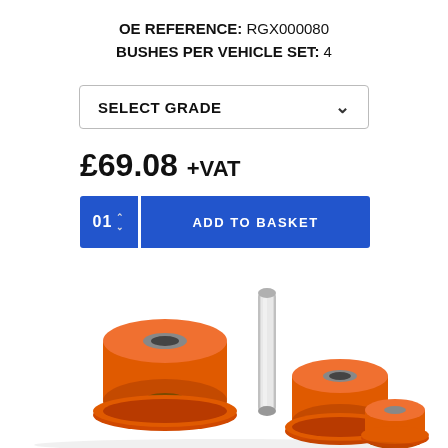OE REFERENCE: RGX000080
BUSHES PER VEHICLE SET: 4
SELECT GRADE
£69.08 +VAT
01
ADD TO BASKET
[Figure (photo): Orange polyurethane bush set with metal sleeve, showing multiple cylindrical bushes with flanged ends]